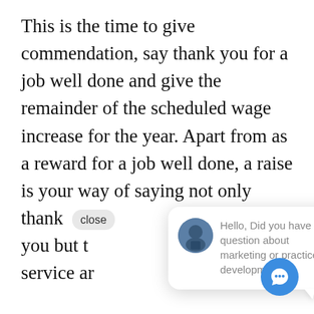This is the time to give commendation, say thank you for a job well done and give the remainder of the scheduled wage increase for the year. Apart from as a reward for a job well done, a raise is your way of saying not only thank you but t service ar
So in con it may see. replaceable. The truth is it takes both time and money to replace the knowledge and experience of a
[Figure (screenshot): Chat popup widget showing avatar photo of a person and message: 'Hello, Did you have a question about marketing or practice development?' with a close button and blue chat button in corner.]